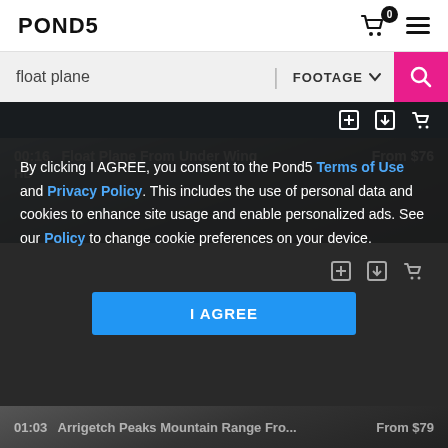POND5
float plane | FOOTAGE
[Figure (screenshot): Dark video thumbnail showing aircraft wing/undercarriage, with overlay icons for add, download, cart]
00:16  Float Plane From Under Wing   From $76
HD
By clicking I AGREE, you consent to the Pond5 Terms of Use and Privacy Policy. This includes the use of personal data and cookies to enhance site usage and enable personalized ads. See our Policy to change cookie preferences on your device.
I AGREE
01:03  Arrigetch Peaks Mountain Range Fro...   From $79